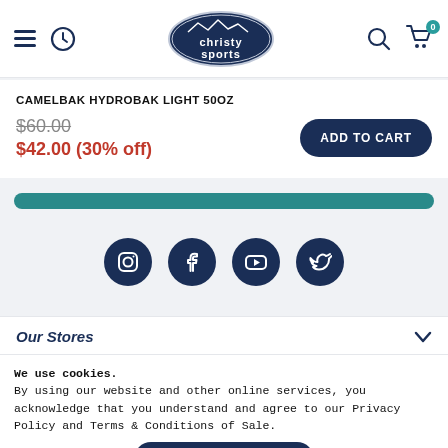[Figure (logo): Christy Sports logo in dark navy oval with mountain silhouette]
CAMELBAK HYDROBAK LIGHT 50OZ
$60.00 $42.00 (30% off)
[Figure (other): Teal rounded bar element]
[Figure (other): Social media icons: Instagram, Facebook, YouTube, Twitter]
Our Stores
We use cookies.
By using our website and other online services, you acknowledge that you understand and agree to our Privacy Policy and Terms & Conditions of Sale.